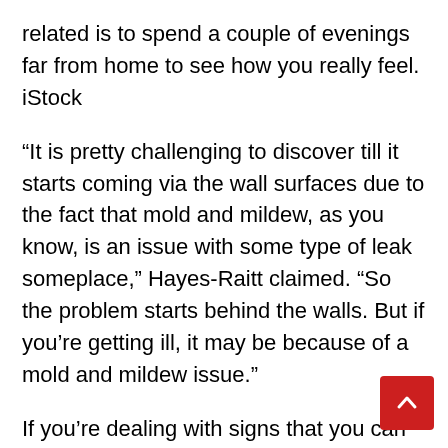related is to spend a couple of evenings far from home to see how you really feel. iStock
“It is pretty challenging to discover till it starts coming via the wall surfaces due to the fact that mold and mildew, as you know, is an issue with some type of leak someplace,” Hayes-Raitt claimed. “So the problem starts behind the walls. But if you’re getting ill, it may be because of a mold and mildew issue.”
If you’re dealing with signs that you can not precisely determine, it could be that you’re stressed out, haven’t been dealing with on your own, or end up with some sort of infection, of course, however it might likewise possibly be that you’re managing mold and mildew.